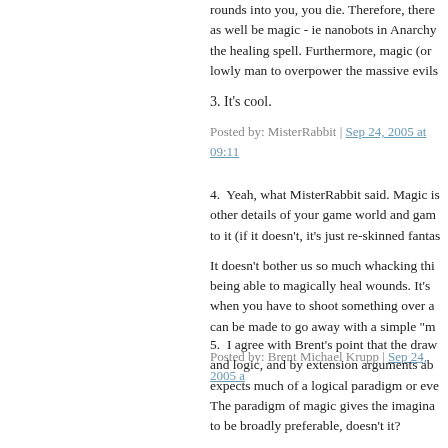rounds into you, you die. Therefore, there as well be magic - ie nanobots in Anarchy the healing spell. Furthermore, magic (or lowly man to overpower the massive evils
3. It's cool.
Posted by: MisterRabbit | Sep 24, 2005 at 09:11
4.  Yeah, what MisterRabbit said. Magic is other details of your game world and gam to it (if it doesn't, it's just re-skinned fantas
It doesn't bother us so much whacking thi being able to magically heal wounds. It's when you have to shoot something over a can be made to go away with a simple "m
Posted by: Brent Michael Krupp | Sep 24, 2005 a
5.  I agree with Brent's point that the draw and logic, and by extension arguments ab expects much of a logical paradigm or eve The paradigm of magic gives the imagina to be broadly preferable, doesn't it?
Posted by: Chris | Sep 24, 2005 at 09:50